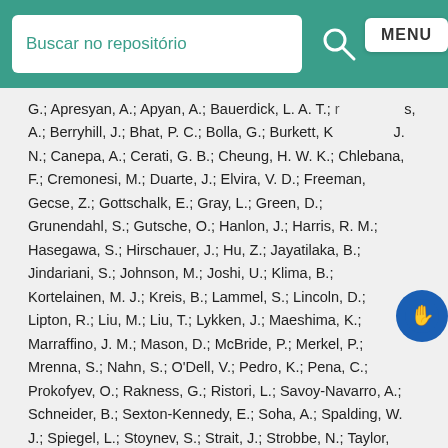Buscar no repositório
G.; Apresyan, A.; Apyan, A.; Bauerdick, L. A. T.; … s, A.; Berryhill, J.; Bhat, P. C.; Bolla, G.; Burkett, K… J. N.; Canepa, A.; Cerati, G. B.; Cheung, H. W. K.; Chlebana, F.; Cremonesi, M.; Duarte, J.; Elvira, V. D.; Freeman… Gecse, Z.; Gottschalk, E.; Gray, L.; Green, D.; Grunendahl, S.; Gutsche, O.; Hanlon, J.; Harris, R. M.; Hasegawa, S.; Hirschauer, J.; Hu, Z.; Jayatilaka, B.; Jindariani, S.; Johnson, M.; Joshi, U.; Klima, B.; Kortelainen, M. J.; Kreis, B.; Lammel, S.; Lincoln, D.; Lipton, R.; Liu, M.; Liu, T.; Lykken, J.; Maeshima, K.; Marraffino, J. M.; Mason, D.; McBride, P.; Merkel, P.; Mrenna, S.; Nahn, S.; O'Dell, V.; Pedro, K.; Pena, C.; Prokofyev, O.; Rakness, G.; Ristori, L.; Savoy-Navarro, A.; Schneider, B.; Sexton-Kennedy, E.; Soha, A.; Spalding, W. J.; Spiegel, L.; Stoynev, S.; Strait, J.; Strobbe, N.; Taylor, L.; Tkaczyk, S.; Tran, N. V.; Uplegger, L.; Vaandering, E. W.; Vernieri, C.; Verzocchi, M.; Vidal, R.; Wang, M.; Weber, H. A.; Whitbeck, A.; Acosta, D.; Avery, P.; Bartirman, P.; Bourilkov, D.; Brinkerhoff, A.; Cadamuro, …